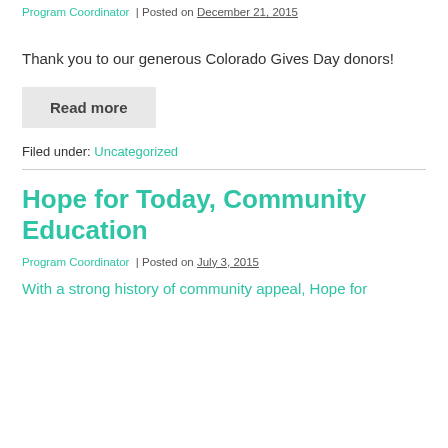Program Coordinator | Posted on December 21, 2015
Thank you to our generous Colorado Gives Day donors!
Read more
Filed under: Uncategorized
Hope for Today, Community Education
Program Coordinator | Posted on July 3, 2015
With a strong history of community appeal, Hope for